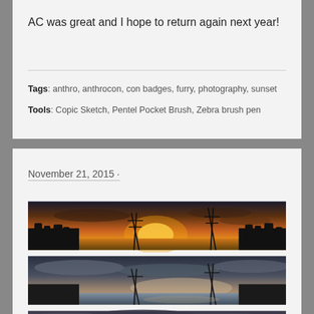AC was great and I hope to return again next year!
Tags: anthro, anthrocon, con badges, furry, photography, sunset
Tools: Copic Sketch, Pentel Pocket Brush, Zebra brush pen
November 21, 2015 ·
[Figure (photo): Three stacked panoramic photographs of a sunset over a river or lake with silhouetted trees and power line towers. Top image shows a vivid orange/golden sunset sky. Middle image shows a more subdued blue-grey dusk sky. Bottom image shows a cloudy, moody dusk sky.]